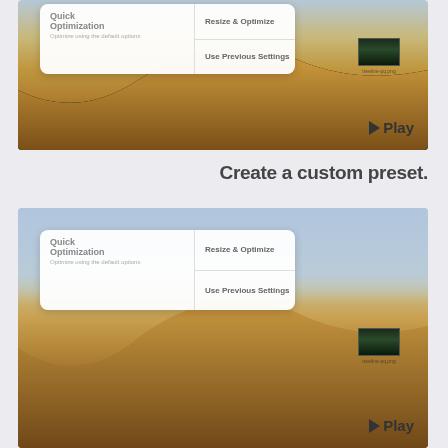[Figure (screenshot): macOS desktop screenshot showing Quick Optimization dialog with 'Resize & Optimize' and 'Use Previous Settings' buttons, desert sand dune wallpaper background, small thumbnail image, and Play button]
Create a custom preset.
[Figure (screenshot): macOS desktop screenshot showing Quick Optimization dialog with 'Resize & Optimize' and 'Use Previous Settings' buttons, desert sand dune wallpaper with blue sky background, small thumbnail image, and Play button]